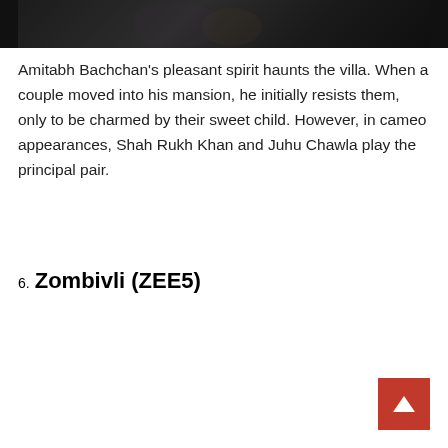[Figure (photo): Dark screenshot from a movie/show showing silhouetted figures, partially cropped at top of page]
Amitabh Bachchan's pleasant spirit haunts the villa. When a couple moved into his mansion, he initially resists them, only to be charmed by their sweet child. However, in cameo appearances, Shah Rukh Khan and Juhu Chawla play the principal pair.
6. Zombivli (ZEE5)